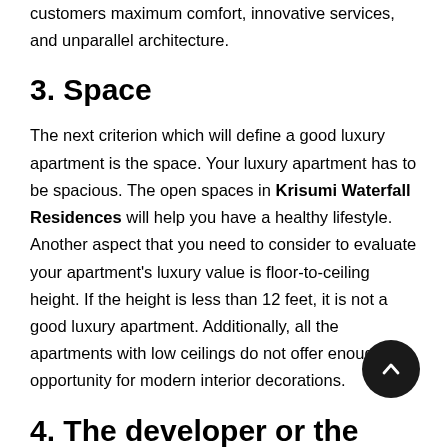customers maximum comfort, innovative services, and unparallel architecture.
3. Space
The next criterion which will define a good luxury apartment is the space. Your luxury apartment has to be spacious. The open spaces in Krisumi Waterfall Residences will help you have a healthy lifestyle. Another aspect that you need to consider to evaluate your apartment's luxury value is floor-to-ceiling height. If the height is less than 12 feet, it is not a good luxury apartment. Additionally, all the apartments with low ceilings do not offer enough opportunity for modern interior decorations.
4. The developer or the builder